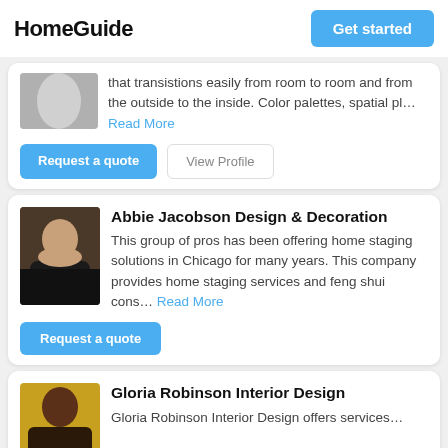HomeGuide | Get started
that transistions easily from room to room and from the outside to the inside. Color palettes, spatial pl... Read More
Request a quote | View Profile
Abbie Jacobson Design & Decoration
This group of pros has been offering home staging solutions in Chicago for many years. This company provides home staging services and feng shui cons... Read More
Request a quote
Gloria Robinson Interior Design
Gloria Robinson Interior Design offers services...